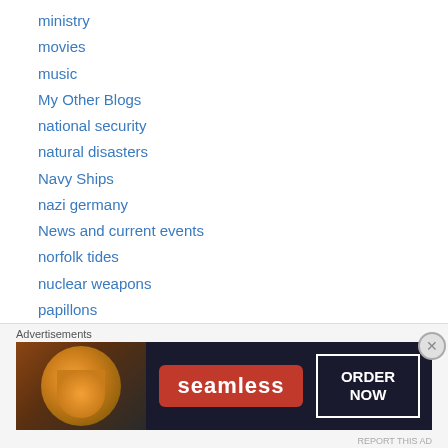ministry
movies
music
My Other Blogs
national security
natural disasters
Navy Ships
nazi germany
News and current events
norfolk tides
nuclear weapons
papillons
Pastoral Care
philosophy
Photo Montages
Political Commentary
[Figure (infographic): Seamless food delivery advertisement banner with pizza image on left, red Seamless logo in center, and ORDER NOW button on right, on dark background.]
Advertisements